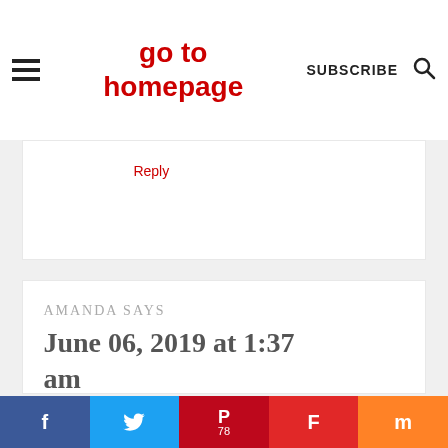go to homepage | SUBSCRIBE
Reply
AMANDA SAYS
June 06, 2019 at 1:37 am
f | Twitter | P 78 | F | m